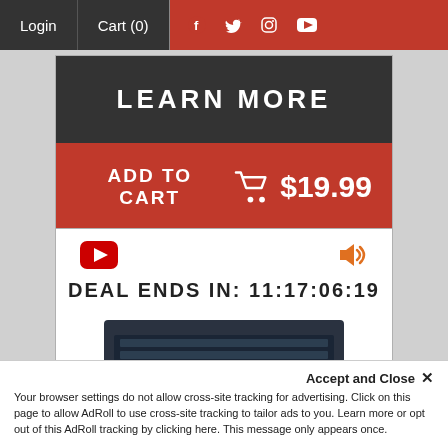Login | Cart (0)
LEARN MORE
ADD TO CART $19.99
DEAL ENDS IN: 11:17:06:19
[Figure (screenshot): Product image partially visible at bottom of second card]
Accept and Close ×
Your browser settings do not allow cross-site tracking for advertising. Click on this page to allow AdRoll to use cross-site tracking to tailor ads to you. Learn more or opt out of this AdRoll tracking by clicking here. This message only appears once.